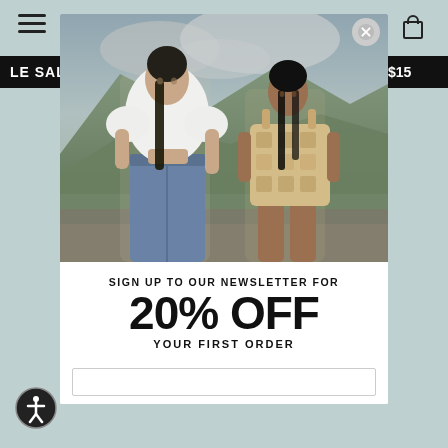[Figure (screenshot): Fashion retail website screenshot showing navigation bar with hamburger menu, sale banner, and a modal popup]
[Figure (photo): Two female models outdoors with mountainous green landscape background. Left model wears white puff-sleeve crop top with blue jeans. Right model wears a patterned beige/gold mini dress.]
SIGN UP TO OUR NEWSLETTER FOR
20% OFF
YOUR FIRST ORDER